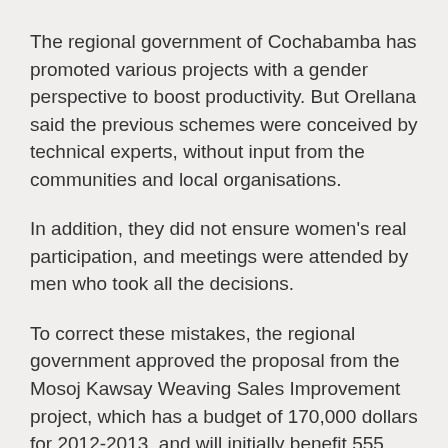The regional government of Cochabamba has promoted various projects with a gender perspective to boost productivity. But Orellana said the previous schemes were conceived by technical experts, without input from the communities and local organisations.
In addition, they did not ensure women's real participation, and meetings were attended by men who took all the decisions.
To correct these mistakes, the regional government approved the proposal from the Mosoj Kawsay Weaving Sales Improvement project, which has a budget of 170,000 dollars for 2012-2013, and will initially benefit 555 women.
Seventy-five percent of the project's budget is financed by the regional government, 20 percent by the municipalities,